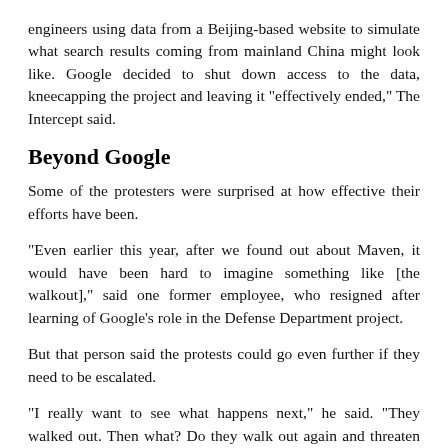engineers using data from a Beijing-based website to simulate what search results coming from mainland China might look like. Google decided to shut down access to the data, kneecapping the project and leaving it "effectively ended," The Intercept said.
Beyond Google
Some of the protesters were surprised at how effective their efforts have been.
"Even earlier this year, after we found out about Maven, it would have been hard to imagine something like [the walkout]," said one former employee, who resigned after learning of Google's role in the Defense Department project.
But that person said the protests could go even further if they need to be escalated.
"I really want to see what happens next," he said. "They walked out. Then what? Do they walk out again and threaten not to come back for a few days or weeks?"